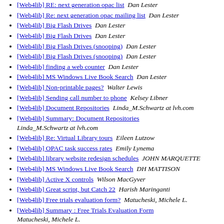[Web4lib] RE: next generation opac list  Dan Lester
[Web4lib] Re: next generation opac mailing list  Dan Lester
[Web4lib] Big Flash Drives  Dan Lester
[Web4lib] Big Flash Drives  Dan Lester
[Web4lib] Big Flash Drives (snooping)  Dan Lester
[Web4lib] Big Flash Drives (snooping)  Dan Lester
[Web4lib] finding a web counter  Dan Lester
[Web4lib] MS Windows Live Book Search  Dan Lester
[Web4lib] Non-printable pages?  Walter Lewis
[Web4lib] Sending call number to phone  Kelsey Libner
[Web4lib] Document Repositories  Linda_M.Schwartz at lvh.com
[Web4lib] Summary: Document Repositories  Linda_M.Schwartz at lvh.com
[Web4lib] Re: Virtual Library tours  Eileen Lutzow
[Web4lib] OPAC task success rates  Emily Lynema
[Web4lib] library website redesign schedules  JOHN MARQUETTE
[Web4lib] MS Windows Live Book Search  DH MATTISON
[Web4lib] Active X controls  Wilson MacGyver
[Web4lib] Great script, but Catch 22  Harish Maringanti
[Web4lib] Free trials evaluation form?  Matucheski, Michele L.
[Web4lib] Summary : Free Trials Evaluation Form  Matucheski, Michele L.